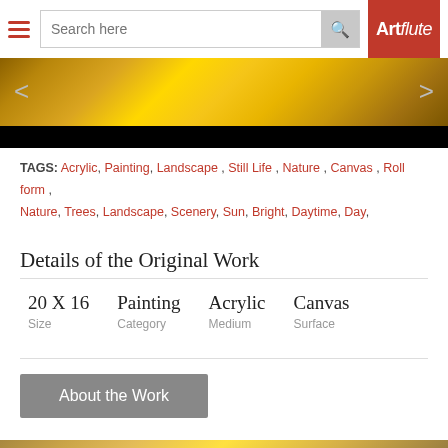[Figure (screenshot): Navigation bar with hamburger menu, search box with 'Search here' placeholder, search button, and Artflute logo on red background]
[Figure (photo): Artwork image banner showing golden/yellow textured painting with left and right navigation arrows on dark background]
TAGS: Acrylic, Painting, Landscape , Still Life , Nature , Canvas , Roll form , Nature, Trees, Landscape, Scenery, Sun, Bright, Daytime, Day,
Details of the Original Work
| Size | Category | Medium | Surface |
| --- | --- | --- | --- |
| 20 X 16 | Painting | Acrylic | Canvas |
About the Work